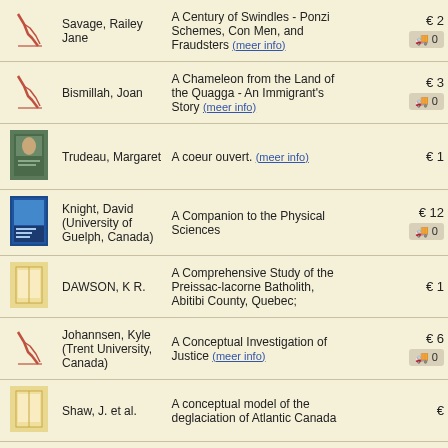| Image | Author | Title | Price |
| --- | --- | --- | --- |
| [graph] | Savage, Railey Jane | A Century of Swindles - Ponzi Schemes, Con Men, and Fraudsters (meer info) | € 2 |
| [graph] | Bismillah, Joan | A Chameleon from the Land of the Quagga - An Immigrant's Story (meer info) | € 3 |
| [book cover] | Trudeau, Margaret | A coeur ouvert. (meer info) | € 1 |
| [book cover] | Knight, David (University of Guelph, Canada) | A Companion to the Physical Sciences | € 12 |
| [no cover] | DAWSON, K R. | A Comprehensive Study of the Preissac-lacorne Batholith, Abitibi County, Quebec; | € 1 |
| [graph] | Johannsen, Kyle (Trent University, Canada) | A Conceptual Investigation of Justice (meer info) | € 6 |
| [no cover] | Shaw, J. et al. | A conceptual model of the deglaciation of Atlantic Canada | € |
| [no cover] | Margaret (Professor Emerita, University of New Brunswick) Conrad | A Concise History of Canada | € 2 |
| [book cover] | Conrad, Margaret (Professor Emerita, University of New Brunswick) | A Concise History of Canada (meer info) | € 3 |